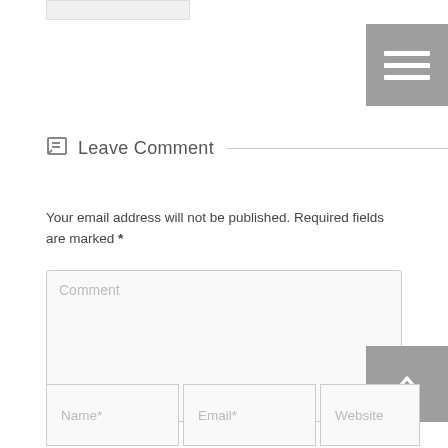[Figure (screenshot): Top partial image placeholder (cropped)]
[Figure (other): Hamburger menu button with three white horizontal bars on grey background]
Leave Comment
Your email address will not be published. Required fields are marked *
[Figure (screenshot): Large comment textarea with placeholder text 'Comment' and resize handle]
[Figure (other): Back to top button with upward arrow on grey background]
[Figure (screenshot): Input fields row: Name*, Email*, Website]